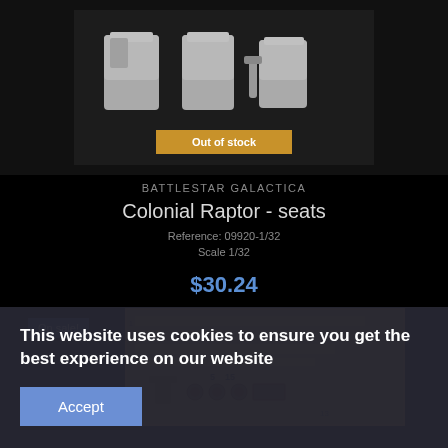[Figure (photo): 3D resin model seats for Battlestar Galactica Colonial Raptor, grey colored, with 'Out of stock' badge overlay]
BATTLESTAR GALACTICA
Colonial Raptor - seats
Reference: 09920-1/32
Scale  1/32
$30.24
On sale!
[Figure (photo): Photo-etch brass fret sheet showing various parts numbered 5, 15, 13 etc., with strawberry branding on the side]
This website uses cookies to ensure you get the best experience on our website
Accept